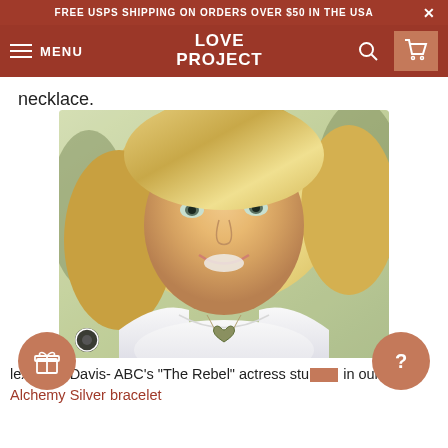FREE USPS SHIPPING ON ORDERS OVER $50 IN THE USA
LOVE PROJECT — MENU, Search, Cart navigation bar
necklace.
[Figure (photo): A smiling blonde woman wearing a white top and a heart-shaped necklace, taking a selfie outdoors with greenery in the background.]
lex Scott Davis- ABC's "The Rebel" actress stunned in our  Alchemy Silver bracelet